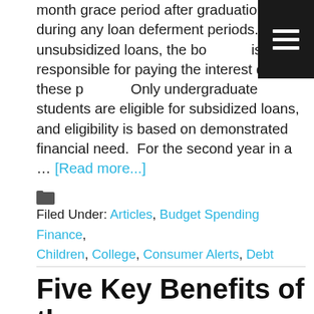month grace period after graduation, and during any loan deferment periods. With unsubsidized loans, the borrower is responsible for paying the interest during these periods. Only undergraduate students are eligible for subsidized loans, and eligibility is based on demonstrated financial need.  For the second year in a … [Read more...]
Filed Under: Articles, Budget Spending Finance, Children, College, Consumer Alerts, Debt
Five Key Benefits of the CARES Act for Individuals and